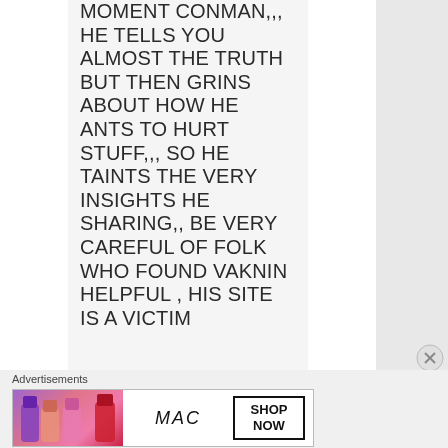MOMENT CONMAN,,, HE TELLS YOU ALMOST THE TRUTH BUT THEN GRINS ABOUT HOW HE ANTS TO HURT STUFF,,, SO HE TAINTS THE VERY INSIGHTS HE SHARING,, BE VERY CAREFUL OF FOLK WHO FOUND VAKNIN HELPFUL , HIS SITE IS A VICTIM ACCOMPLICE
Advertisements
[Figure (other): MAC cosmetics advertisement banner showing lipsticks and SHOP NOW button]